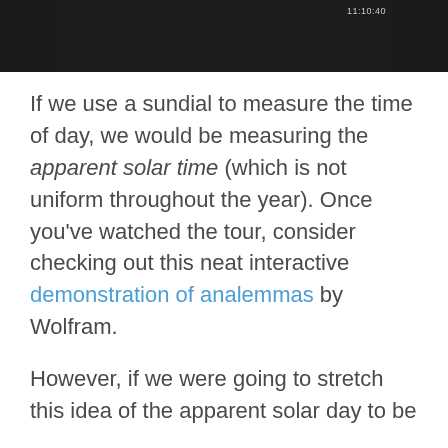[Figure (photo): Dark/black screenshot of a video or image, with a timestamp visible in the upper right corner reading approximately 11:10:40]
If we use a sundial to measure the time of day, we would be measuring the apparent solar time (which is not uniform throughout the year). Once you've watched the tour, consider checking out this neat interactive demonstration of analemmas by Wolfram.
However, if we were going to stretch this idea of the apparent solar day to be